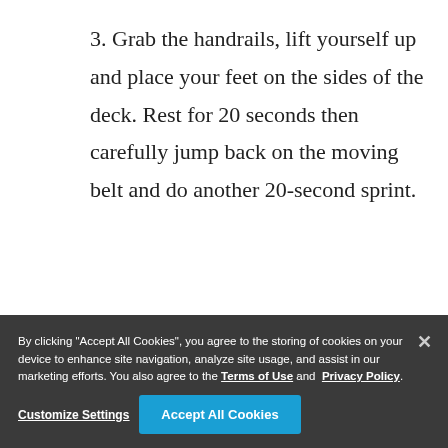3. Grab the handrails, lift yourself up and place your feet on the sides of the deck. Rest for 20 seconds then carefully jump back on the moving belt and do another 20-second sprint.
4. Alternate back and forth 10 to 12 times and finish with a light 5-minute
Side Stepper
This [move] m... the obliques...
By clicking "Accept All Cookies", you agree to the storing of cookies on your device to enhance site navigation, analyze site usage, and assist in our marketing efforts. You also agree to the Terms of Use and Privacy Policy.